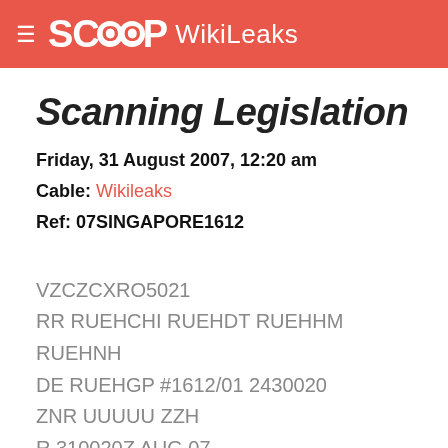SCOOP WikiLeaks
Scanning Legislation
Friday, 31 August 2007, 12:20 am
Cable: Wikileaks
Ref: 07SINGAPORE1612
VZCZCXRO5021
RR RUEHCHI RUEHDT RUEHHM RUEHNH
DE RUEHGP #1612/01 2430020
ZNR UUUUU ZZH
R 310020Z AUG 07
FM AMEMBASSY SINGAPORE
TO RUEHC/SECSTATE WASHDC 3897
INFO RUGNASE/ASEAN MEMBER COLLECTIVE